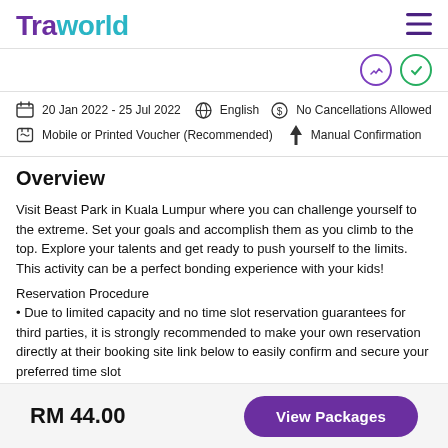Traworld
20 Jan 2022 - 25 Jul 2022  English  No Cancellations Allowed
Mobile or Printed Voucher (Recommended)  Manual Confirmation
Overview
Visit Beast Park in Kuala Lumpur where you can challenge yourself to the extreme. Set your goals and accomplish them as you climb to the top. Explore your talents and get ready to push yourself to the limits. This activity can be a perfect bonding experience with your kids!
Reservation Procedure
Due to limited capacity and no time slot reservation guarantees for third parties, it is strongly recommended to make your own reservation directly at their booking site link below to easily confirm and secure your preferred time slot
Please note that you will risk having your booking rejected at the counter if you
RM 44.00  View Packages